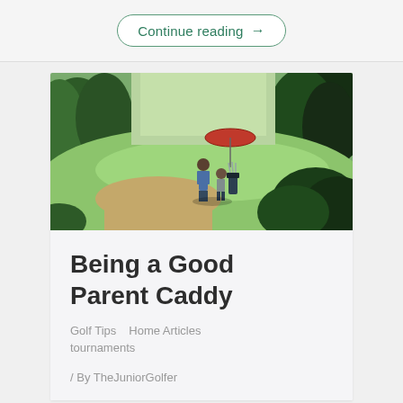Continue reading →
[Figure (photo): Outdoor golf course scene with two people near golf bag, surrounded by lush green trees and bushes, open fairway visible in background with umbrella]
Being a Good Parent Caddy
Golf Tips   Home Articles   tournaments
/ By TheJuniorGolfer